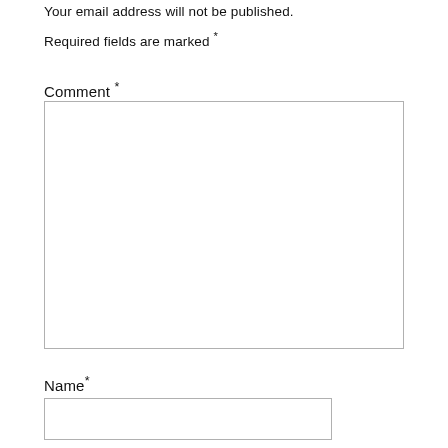Your email address will not be published.
Required fields are marked *
Comment *
[Figure (other): Large empty comment textarea input box]
Name *
[Figure (other): Single-line name text input box]